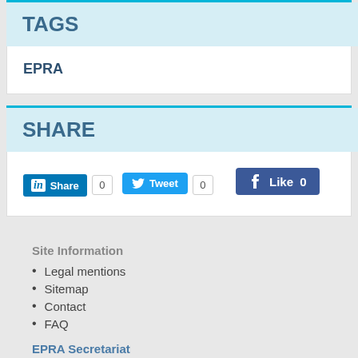TAGS
EPRA
SHARE
[Figure (screenshot): Social share buttons: LinkedIn Share with count 0, Twitter Tweet with count 0, Facebook Like with count 0]
Site Information
Legal mentions
Sitemap
Contact
FAQ
EPRA Secretariat
76 Allée de la Robertsau